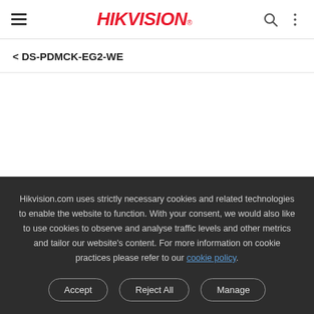HIKVISION
< DS-PDMCK-EG2-WE
Hikvision.com uses strictly necessary cookies and related technologies to enable the website to function. With your consent, we would also like to use cookies to observe and analyse traffic levels and other metrics and tailor our website's content. For more information on cookie practices please refer to our cookie policy.
Accept | Reject All | Manage